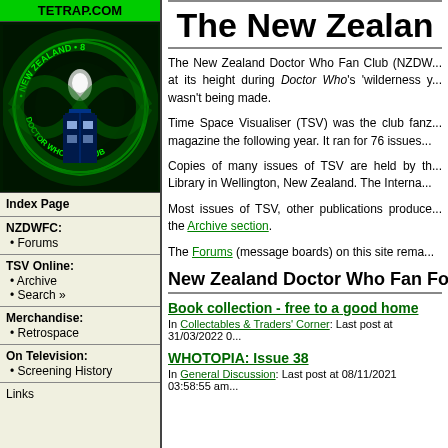TETRAP.COM
[Figure (illustration): New Zealand Doctor Who Fan Club circular logo with TARDIS in center on dark green swirling background]
Index Page
NZDWFC:
• Forums
TSV Online:
• Archive
• Search »
Merchandise:
• Retrospace
On Television:
• Screening History
Links
The New Zealan
The New Zealand Doctor Who Fan Club (NZDW... at its height during Doctor Who's 'wilderness y... wasn't being made.
Time Space Visualiser (TSV) was the club fanz... magazine the following year. It ran for 76 issues...
Copies of many issues of TSV are held by th... Library in Wellington, New Zealand. The Interna...
Most issues of TSV, other publications produce... the Archive section.
The Forums (message boards) on this site rema...
New Zealand Doctor Who Fan Foru
Book collection - free to a good home
In Collectables & Traders' Corner: Last post at 31/03/2022 0...
WHOTOPIA: Issue 38
In General Discussion: Last post at 08/11/2021 03:58:55 am...